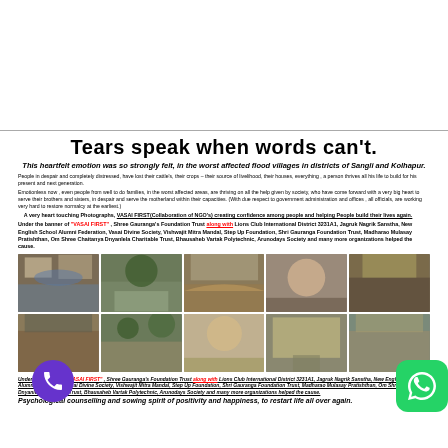Tears speak when words can't.
This heartfelt emotion was so strongly felt, in the worst affected flood villages in districts of Sangli and Kolhapur.
People in despair and completely distressed, have lost their cattle's, their crops – their source of livelihood, their houses, everything, a person thrives all his life to build for his present and next generation.
Emotionless now, even people from well to do families, in the worst affected areas, are thriving on all the help given by society, who have come forward with a very big heart to serve their brothers and sisters, in despair and serve the motherland within their capacities. (With due respect to government administration and offices, all officials, are working very hard to restore normalcy at the earliest.)
A very heart touching Photographs, VASAI FIRST(Collaboration of NGO's) creating confidence among people and helping People build their lives again.
Under the banner of "VASAI FIRST", Shree Gauranga's Foundation Trust along with Lions Club International District 3231A1, Jagruk Nagrik Sanstha, New English School Alumni Federation, Vasai Divine Society, Vishwajit Mitra Mandal, Step Up Foundation, Shri Gauranga Foundation Trust, Madharao Mulasay Pratishthan, Om Shree Chaitanya Dnyanlela Charitable Trust, Bhausaheb Vartak Polytechnic, Arunodays Society and many more organizations helped the cause.
[Figure (photo): Row of flood disaster photographs showing submerged villages, damaged houses, distressed people in Sangli and Kolhapur districts]
[Figure (photo): Second row of flood disaster photographs showing more damage and affected people]
Under the banner of "VASAI FIRST", Shree Gauranga's Foundation Trust along with Lions Club International District 3231A1, Jagruk Nagrik Sanstha, New English School Alumni Federation, Vasai Divine Society, Vishwajit Mitra Mandal, Step Up Foundation, Shri Gauranga Foundation Trust, Madharao Mulasay Pratishthan, Om Shree Chaitanya Dnyanlela Charitable Trust, Bhausaheb Vartak Polytechnic, Arunodays Society and many more organizations helped the cause.
Psychological counselling and sowing spirit of positivity and happiness, to restart life all over again.